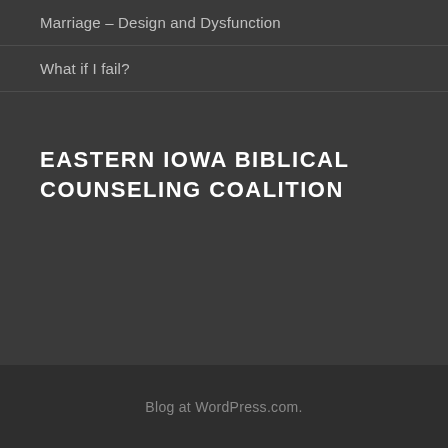Marriage – Design and Dysfunction
What if I fail?
EASTERN IOWA BIBLICAL COUNSELING COALITION
Blog at WordPress.com.